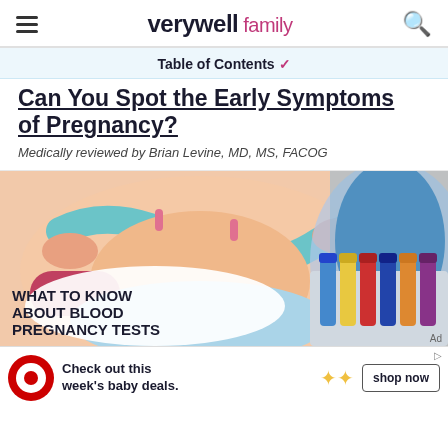verywell family
Table of Contents
Can You Spot the Early Symptoms of Pregnancy?
Medically reviewed by Brian Levine, MD, MS, FACOG
[Figure (illustration): Illustrated collage showing a cross-section diagram of a uterus/reproductive system on the left (with pink and blue anatomical shapes) and a gloved hand holding blood test tubes on the right. Overlaid text reads: WHAT TO KNOW ABOUT BLOOD PREGNANCY TESTS]
[Figure (infographic): Target store advertisement banner: red Target bullseye logo on left, text 'Check out this week's baby deals.' with flower emoji decorations, and a 'shop now' button on the right.]